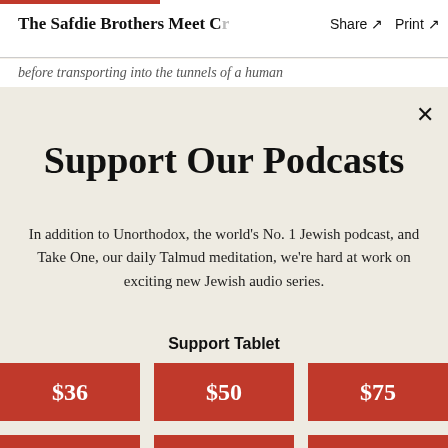The Safdie Brothers Meet Cr  Share ↗  Print ↗
before transporting into the tunnels of a human
Support Our Podcasts
In addition to Unorthodox, the world's No. 1 Jewish podcast, and Take One, our daily Talmud meditation, we're hard at work on exciting new Jewish audio series.
Support Tablet
$36
$50
$75